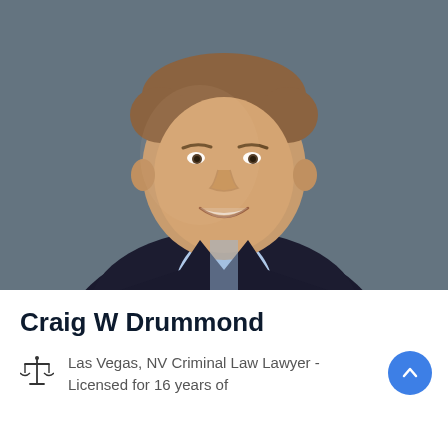[Figure (photo): Professional headshot of Craig W Drummond, a man in a dark blazer and light blue collared shirt, smiling, against a dark gray background.]
Craig W Drummond
Las Vegas, NV Criminal Law Lawyer - Licensed for 16 years of